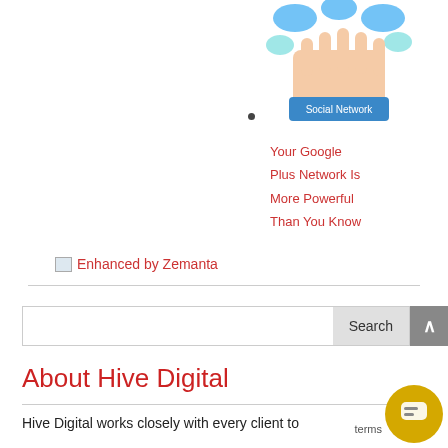[Figure (illustration): Social network image showing colorful speech bubbles and fingers/hands, with a blue 'Social Network' label at the bottom]
Your Google Plus Network Is More Powerful Than You Know
[Figure (illustration): Small icon followed by 'Enhanced by Zemanta' text link in red]
Search
About Hive Digital
Hive Digital works closely with every client to